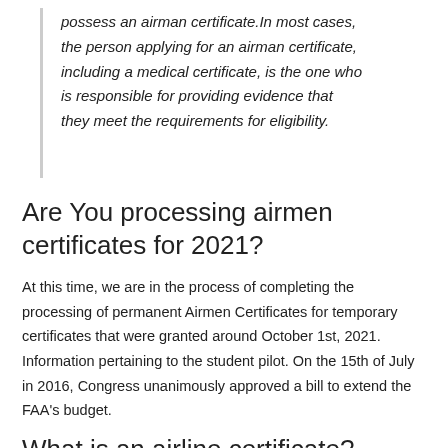possess an airman certificate.In most cases, the person applying for an airman certificate, including a medical certificate, is the one who is responsible for providing evidence that they meet the requirements for eligibility.
Are You processing airmen certificates for 2021?
At this time, we are in the process of completing the processing of permanent Airmen Certificates for temporary certificates that were granted around October 1st, 2021. Information pertaining to the student pilot. On the 15th of July in 2016, Congress unanimously approved a bill to extend the FAA's budget.
What is an airline certificate?